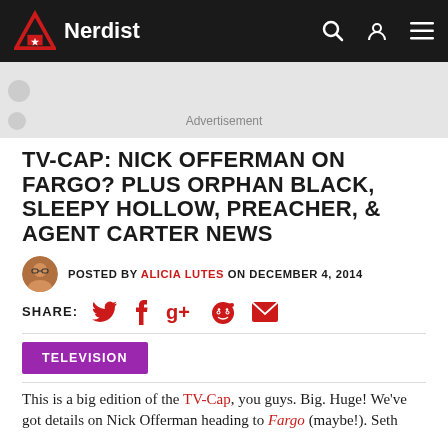Nerdist
[Figure (other): Advertisement banner placeholder (gray band)]
Advertisement
TV-CAP: NICK OFFERMAN ON FARGO? PLUS ORPHAN BLACK, SLEEPY HOLLOW, PREACHER, & AGENT CARTER NEWS
POSTED BY ALICIA LUTES ON DECEMBER 4, 2014
SHARE:
TELEVISION
This is a big edition of the TV-Cap, you guys. Big. Huge! We've got details on Nick Offerman heading to Fargo (maybe!). Seth